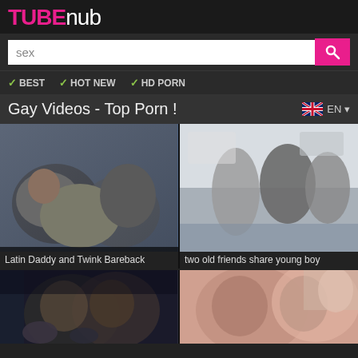TUBEnub
sex (search box)
BEST  HOT NEW  HD PORN
Gay Videos - Top Porn !
[Figure (photo): Video thumbnail: Latin Daddy and Twink Bareback]
Latin Daddy and Twink Bareback
[Figure (photo): Video thumbnail: two old friends share young boy]
two old friends share young boy
[Figure (photo): Video thumbnail: two young men kissing closely]
[Figure (photo): Video thumbnail: close up of people kissing]